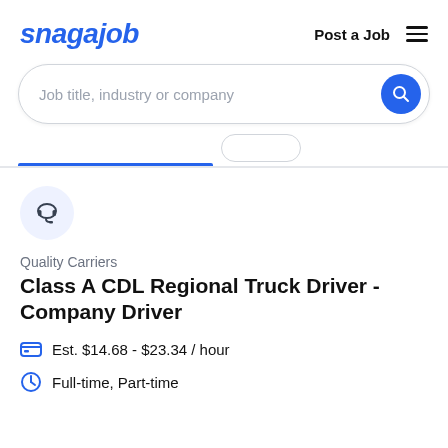[Figure (logo): Snagajob logo in blue italic bold text]
Post a Job
[Figure (other): Hamburger menu icon with three horizontal lines]
Job title, industry or company
[Figure (other): Search button with magnifying glass icon on blue circle]
[Figure (other): Company logo placeholder: headset icon on light blue circle background]
Quality Carriers
Class A CDL Regional Truck Driver - Company Driver
Est. $14.68 - $23.34 / hour
Full-time, Part-time